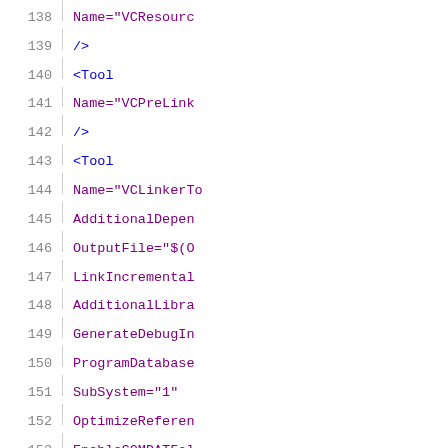Code listing lines 138-159, XML/project file snippet with Tool elements and attributes including VCResourceCompiler, VCPreLinkEventTool, VCLinkerTool, VCALinkTool